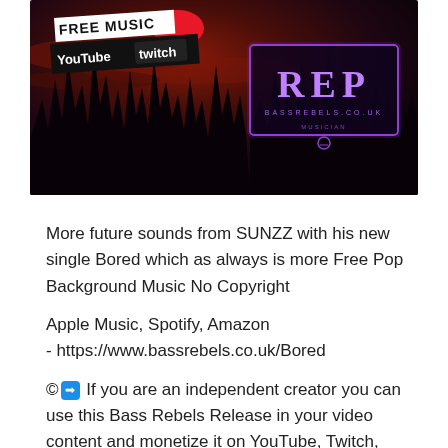[Figure (photo): Banner image showing a dark purple/red sky background with silhouetted trees. Left side has white and black text tags: 'FREE MUSIC', 'YouTube twitch' with a red circle accent. Right side shows a neon purple glowing 'RED' logo in a bordered box.]
More future sounds from SUNZZ with his new single Bored which as always is more Free Pop Background Music No Copyright
Apple Music, Spotify, Amazon
- https://www.bassrebels.co.uk/Bored
©➡ If you are an independent creator you can use this Bass Rebels Release in your video content and monetize it on YouTube, Twitch, Mixer and other online video websites but you MUST copy the following section in between the lines below into your video description.